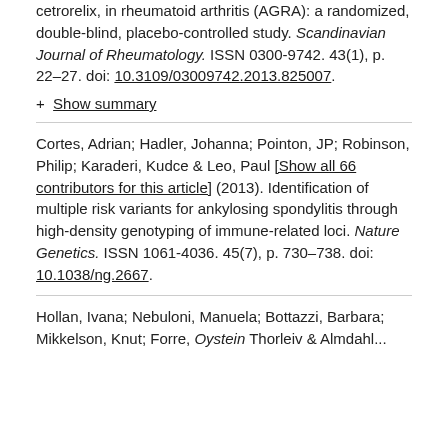cetrorelix, in rheumatoid arthritis (AGRA): a randomized, double-blind, placebo-controlled study. Scandinavian Journal of Rheumatology. ISSN 0300-9742. 43(1), p. 22–27. doi: 10.3109/03009742.2013.825007.
+ Show summary
Cortes, Adrian; Hadler, Johanna; Pointon, JP; Robinson, Philip; Karaderi, Kudce & Leo, Paul [Show all 66 contributors for this article] (2013). Identification of multiple risk variants for ankylosing spondylitis through high-density genotyping of immune-related loci. Nature Genetics. ISSN 1061-4036. 45(7), p. 730–738. doi: 10.1038/ng.2667.
Hollan, Ivana; Nebuloni, Manuela; Bottazzi, Barbara; Mikkelson, Knut; Forre, Oystein Thorleiv & Almdahl...